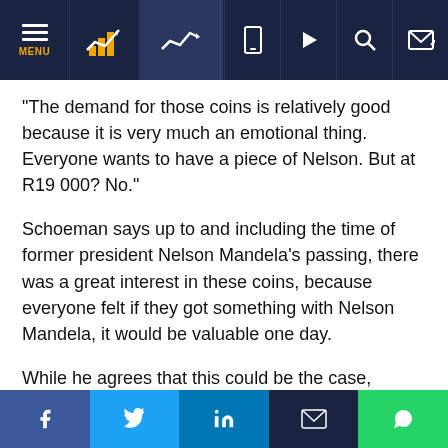Navigation bar with MENU, chart icon, trend icon, spacer, phone icon, play icon, search icon, login icon
“The demand for those coins is relatively good because it is very much an emotional thing. Everyone wants to have a piece of Nelson. But at R19 000? No.”
Schoeman says up to and including the time of former president Nelson Mandela’s passing, there was a great interest in these coins, because everyone felt if they got something with Nelson Mandela, it would be valuable one day.
While he agrees that this could be the case, Mandela’s passing was fairly recent. A lot of people have entered the market thinking they will get great value for the items with Mandela’s image on.
Social share bar: Facebook, Twitter, LinkedIn, Email, WhatsApp